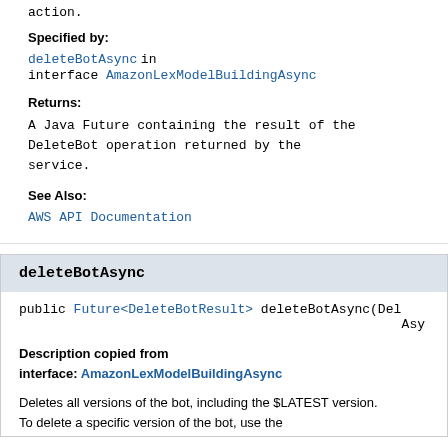action.
Specified by:
deleteBotAsync in interface AmazonLexModelBuildingAsync
Returns:
A Java Future containing the result of the DeleteBot operation returned by the service.
See Also:
AWS API Documentation
deleteBotAsync
public Future<DeleteBotResult> deleteBotAsync(Del... Asy...
Description copied from interface: AmazonLexModelBuildingAsync
Deletes all versions of the bot, including the $LATEST version. To delete a specific version of the bot, use the